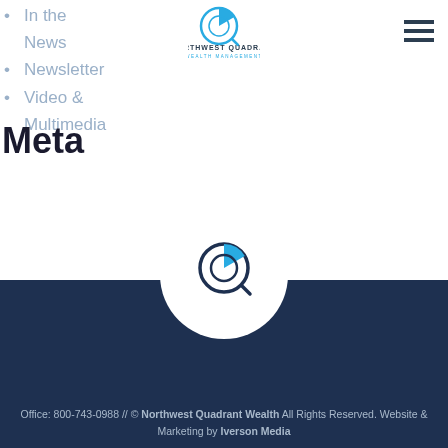In the News
Newsletter
Video & Multimedia
[Figure (logo): Northwest Quadrant Wealth Management logo with clock/compass icon in blue]
Meta
Log in
Entries feed
Comments feed
WordPress.org
[Figure (logo): Northwest Quadrant Wealth Management icon logo in white circle on dark navy footer]
Office: 800-743-0988 // © Northwest Quadrant Wealth All Rights Reserved. Website & Marketing by Iverson Media